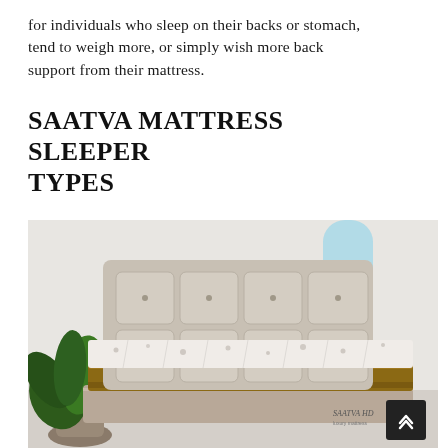for individuals who sleep on their backs or stomach, tend to weigh more, or simply wish more back support from their mattress.
SAATVA MATTRESS SLEEPER TYPES
[Figure (photo): A Saatva HD mattress on a bed frame with an upholstered tufted headboard, a green plant to the left, and a light blue decorative rectangle in the upper right background.]